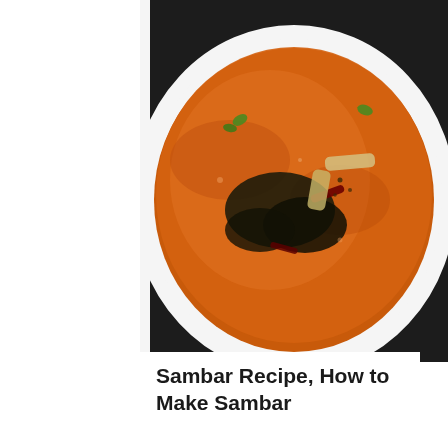[Figure (photo): Top-down view of sambar in a white bowl with curry leaves, dried red chilies, and vegetables in an orange-red broth]
Sambar Recipe, How to Make Sambar
[Figure (photo): Samosas arranged on a dark surface with two dipping sauces (green chutney and tamarind chutney) and fresh mint leaves on a blue cloth]